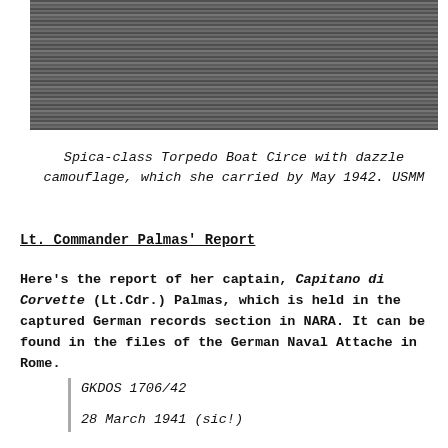[Figure (photo): Black and white photograph of water surface showing Spica-class Torpedo Boat Circe with dazzle camouflage]
Spica-class Torpedo Boat Circe with dazzle camouflage, which she carried by May 1942. USMM
Lt. Commander Palmas' Report
Here’s the report of her captain, Capitano di Corvette (Lt.Cdr.) Palmas, which is held in the captured German records section in NARA. It can be found in the files of the German Naval Attache in Rome.
GKDOS 1706/42
28 March 1941 (sic!)